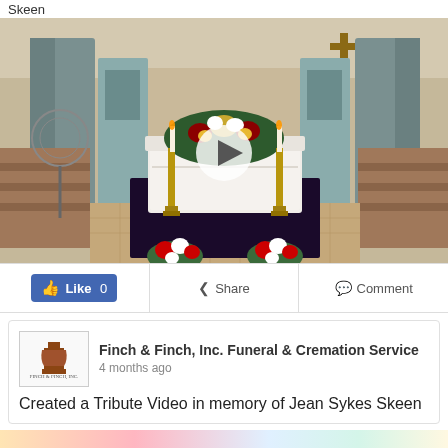Skeen
[Figure (photo): Funeral scene inside a church showing a white casket with floral arrangements on top, flanked by tall candelabras with lit candles and flowers at the base. Church pews and altar visible in background. A video play button overlay is centered on the image.]
Like 0   Share   Comment
Finch & Finch, Inc. Funeral & Cremation Service
4 months ago

Created a Tribute Video in memory of Jean Sykes Skeen